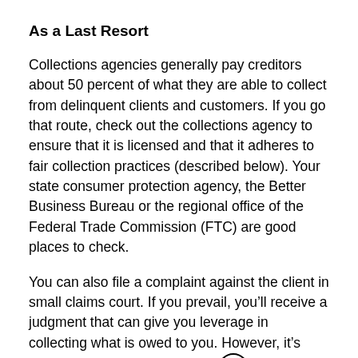As a Last Resort
Collections agencies generally pay creditors about 50 percent of what they are able to collect from delinquent clients and customers. If you go that route, check out the collections agency to ensure that it is licensed and that it adheres to fair collection practices (described below). Your state consumer protection agency, the Better Business Bureau or the regional office of the Federal Trade Commission (FTC) are good places to check.
You can also file a complaint against the client in small claims court. If you prevail, you’ll receive a judgment that can give you leverage in collecting what is owed to you. However, it’s your responsibility to carry out the judgment – including retaining the services of a sheriff or attorney to execute executing wage